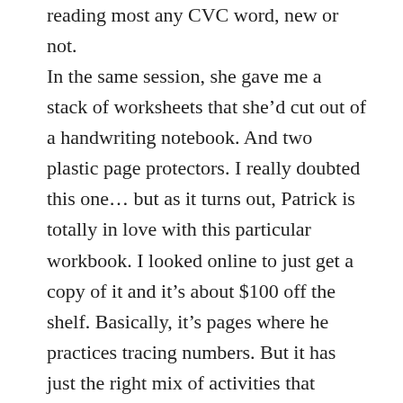reading most any CVC word, new or not.
In the same session, she gave me a stack of worksheets that she'd cut out of a handwriting notebook. And two plastic page protectors. I really doubted this one... but as it turns out, Patrick is totally in love with this particular workbook. I looked online to just get a copy of it and it's about $100 off the shelf. Basically, it's pages where he practices tracing numbers. But it has just the right mix of activities that catches his interest. Trace a number 6 times and then practice drawing that many pictures of a totally simple object for a kid to draw, for example. Who knew Patrick would love drawing suns and balloons and candy canes? And on the other side? We practice counting and patterning. I really need to make it to a